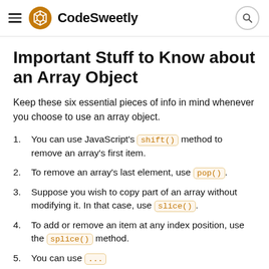CodeSweetly
Important Stuff to Know about an Array Object
Keep these six essential pieces of info in mind whenever you choose to use an array object.
You can use JavaScript's shift() method to remove an array's first item.
To remove an array's last element, use pop().
Suppose you wish to copy part of an array without modifying it. In that case, use slice().
To add or remove an item at any index position, use the splice() method.
You can use ...() the .length property...